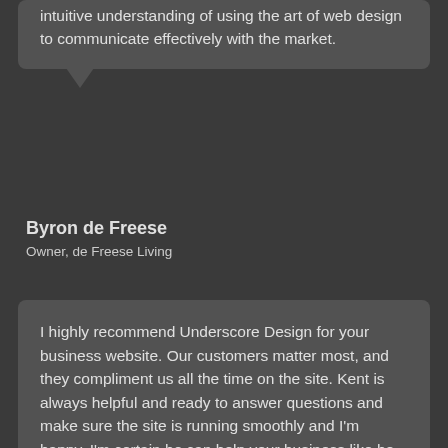intuitive understanding of using the art of web design to communicate effectively with the market.
Byron de Freese
Owner, de Freese Living
I highly recommend Underscore Design for your business website. Our customers matter most, and they compliment us all the time on the site. Kent is always helpful and ready to answer questions and make sure the site is running smoothly and I'm happy. I'm certain he can help your business like he helped mine.